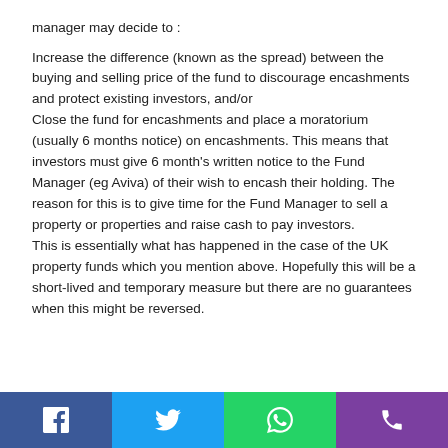manager may decide to :
Increase the difference (known as the spread) between the buying and selling price of the fund to discourage encashments and protect existing investors, and/or Close the fund for encashments and place a moratorium (usually 6 months notice) on encashments. This means that investors must give 6 month's written notice to the Fund Manager (eg Aviva) of their wish to encash their holding. The reason for this is to give time for the Fund Manager to sell a property or properties and raise cash to pay investors. This is essentially what has happened in the case of the UK property funds which you mention above. Hopefully this will be a short-lived and temporary measure but there are no guarantees when this might be reversed.
Social share buttons: Facebook, Twitter, WhatsApp, Phone